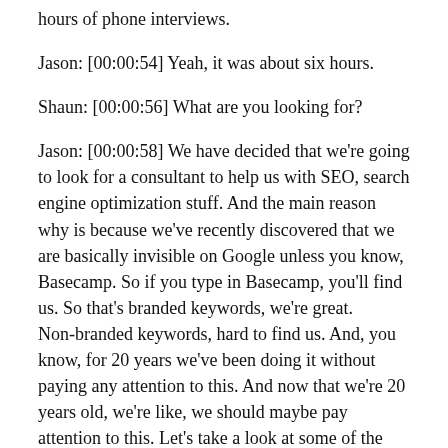hours of phone interviews.
Jason: [00:00:54] Yeah, it was about six hours.
Shaun: [00:00:56] What are you looking for?
Jason: [00:00:58] We have decided that we're going to look for a consultant to help us with SEO, search engine optimization stuff. And the main reason why is because we've recently discovered that we are basically invisible on Google unless you know, Basecamp. So if you type in Basecamp, you'll find us. So that's branded keywords, we're great. Non-branded keywords, hard to find us. And, you know, for 20 years we've been doing it without paying any attention to this. And now that we're 20 years old, we're like, we should maybe pay attention to this. Let's take a look at some of the things and reassess what we're doing and what we're not doing. And so we decided to get some help here with SEO.
[00:01:34] And so I put a tweet out saying like, I forget